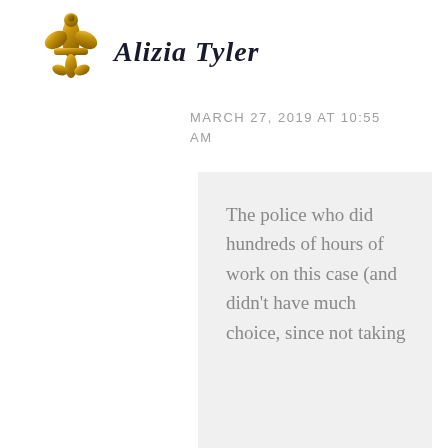[Figure (illustration): Gold fleur-de-lis decorative symbol]
Alizia Tyler
MARCH 27, 2019 AT 10:55 AM
The police who did hundreds of hours of work on this case (and didn't have much choice, since not taking